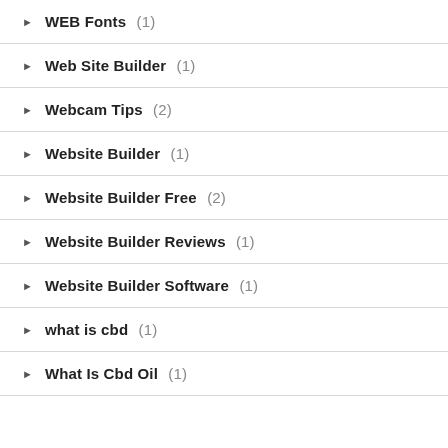WEB Fonts (1)
Web Site Builder (1)
Webcam Tips (2)
Website Builder (1)
Website Builder Free (2)
Website Builder Reviews (1)
Website Builder Software (1)
what is cbd (1)
What Is Cbd Oil (1)